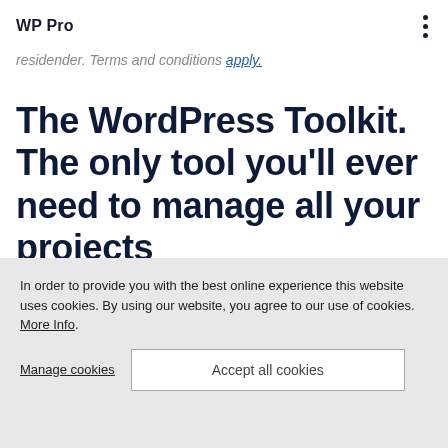WP Pro
residenter. Terms and conditions apply.
The WordPress Toolkit. The only tool you'll ever need to manage all your projects
Great websites should work with as little
In order to provide you with the best online experience this website uses cookies. By using our website, you agree to our use of cookies. More Info.
Manage cookies
Accept all cookies